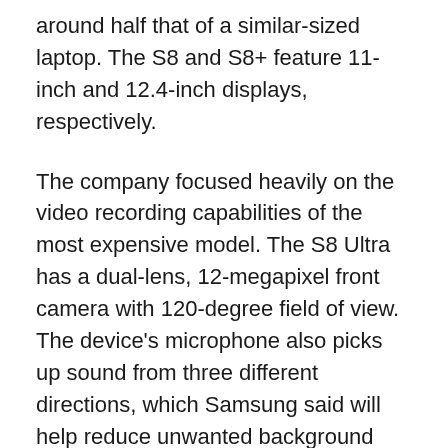around half that of a similar-sized laptop. The S8 and S8+ feature 11-inch and 12.4-inch displays, respectively.
The company focused heavily on the video recording capabilities of the most expensive model. The S8 Ultra has a dual-lens, 12-megapixel front camera with 120-degree field of view. The device's microphone also picks up sound from three different directions, which Samsung said will help reduce unwanted background noise on video calls.
Samsung also showed off some features for productivity and multitasking, including one that lets users sync up notes and share files between different devices. The company hopes its new tablet